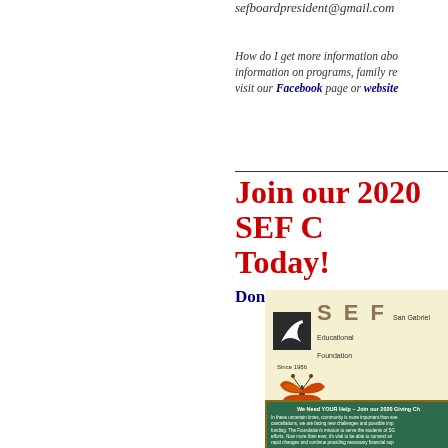sefboardpresident@gmail.com
How do I get more information about information on programs, family resources, visit our Facebook page or website
Join our 2020 SEF C Today!
Donate Now
[Figure (screenshot): San Gabriel Educational Foundation (SEF) promotional image with logo, butterfly, and 2020 Giving Challenge text on a green board]